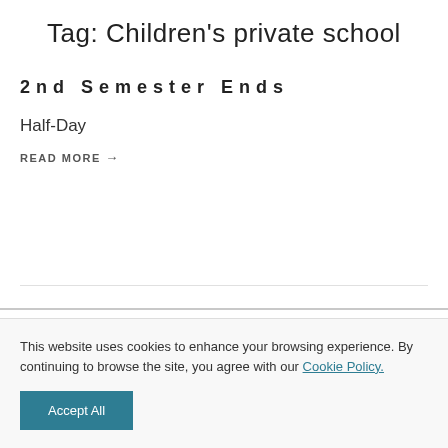Tag: Children's private school
2nd Semester Ends
Half-Day
READ MORE →
This website uses cookies to enhance your browsing experience. By continuing to browse the site, you agree with our Cookie Policy.